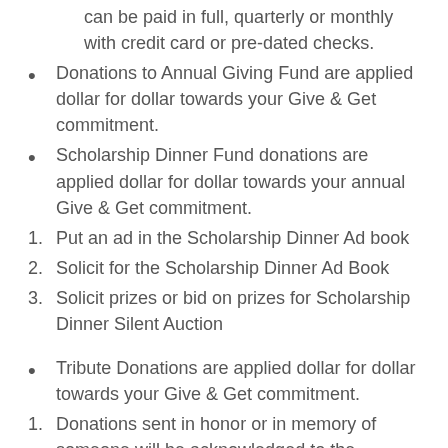The Give & Get Commitment or any portion of it can be paid in full, quarterly or monthly with credit card or pre-dated checks.
Donations to Annual Giving Fund are applied dollar for dollar towards your Give & Get commitment.
Scholarship Dinner Fund donations are applied dollar for dollar towards your annual Give & Get commitment.
Put an ad in the Scholarship Dinner Ad book
Solicit for the Scholarship Dinner Ad Book
Solicit prizes or bid on prizes for Scholarship Dinner Silent Auction
Tribute Donations are applied dollar for dollar towards your Give & Get commitment.
Donations sent in honor or in memory of someone will be acknowledged to the beneficiary